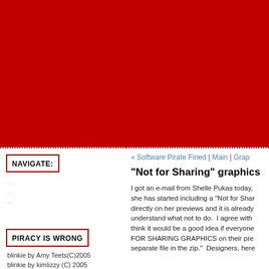[Figure (other): Large red banner/header background]
NAVIGATE:
« Software Pirate Fined | Main | Grap
"Not for Sharing" graphics
I got an e-mail from Shelle Pukas today, she has started including a "Not for Shar directly on her previews and it is already understand what not to do.  I agree with think it would be a good idea if everyone FOR SHARING GRAPHICS on their pre separate file in the zip."  Designers, here
PIRACY IS WRONG
blinkie by Amy Teets(C)2005
blinkie by kimlizzy (C) 2005